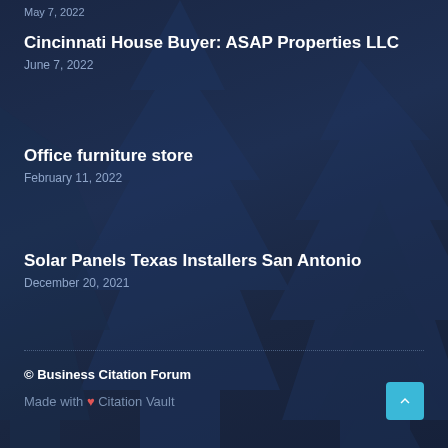May 7, 2022
Cincinnati House Buyer: ASAP Properties LLC
June 7, 2022
Office furniture store
February 11, 2022
Solar Panels Texas Installers San Antonio
December 20, 2021
© Business Citation Forum
Made with ♥ Citation Vault